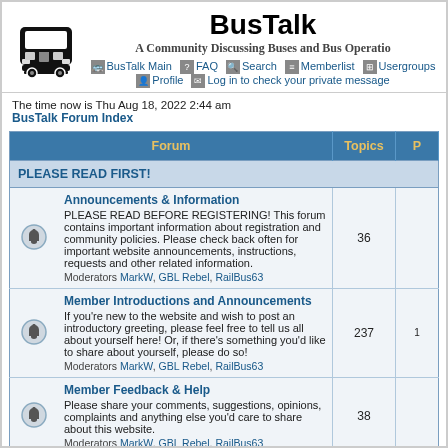BusTalk
A Community Discussing Buses and Bus Operations
BusTalk Main  FAQ  Search  Memberlist  Usergroups  Profile  Log in to check your private messages
The time now is Thu Aug 18, 2022 2:44 am
BusTalk Forum Index
| Forum | Topics | P |
| --- | --- | --- |
| PLEASE READ FIRST! |  |  |
| Announcements & Information
PLEASE READ BEFORE REGISTERING! This forum contains important information about registration and community policies. Please check back often for important website announcements, instructions, requests and other related information.
Moderators MarkW, GBL Rebel, RailBus63 | 36 |  |
| Member Introductions and Announcements
If you're new to the website and wish to post an introductory greeting, please feel free to tell us all about yourself here! Or, if there's something you'd like to share about yourself, please do so!
Moderators MarkW, GBL Rebel, RailBus63 | 237 | 1 |
| Member Feedback & Help
Please share your comments, suggestions, opinions, complaints and anything else you'd care to share about this website.
Moderators MarkW, GBL Rebel, RailBus63 | 38 |  |